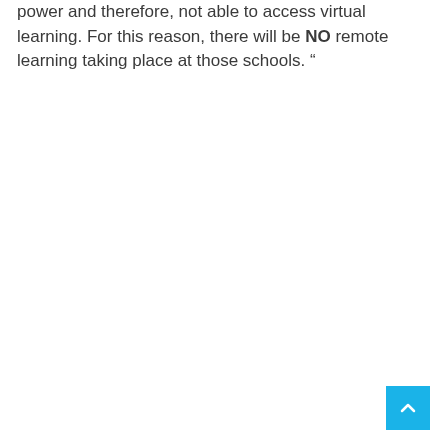power and therefore, not able to access virtual learning. For this reason, there will be NO remote learning taking place at those schools. “